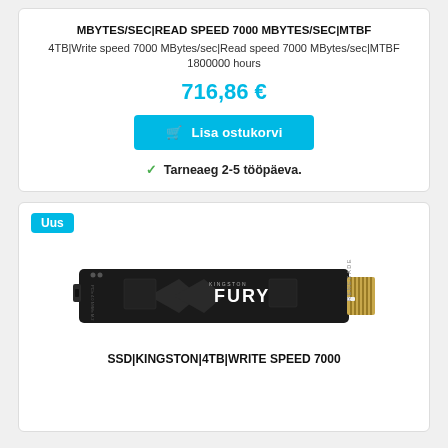MBYTES/SEC|READ SPEED 7000 MBYTES/SEC|MTBF
4TB|Write speed 7000 MBytes/sec|Read speed 7000 MBytes/sec|MTBF 1800000 hours
716,86 €
Lisa ostukorvi
Tarneaeg 2-5 tööpäeva.
Uus
[Figure (photo): Kingston FURY Renegade M.2 NVMe SSD drive, black with gold connector, PCIe 4.0 NVMe M.2 label]
SSD|KINGSTON|4TB|WRITE SPEED 7000